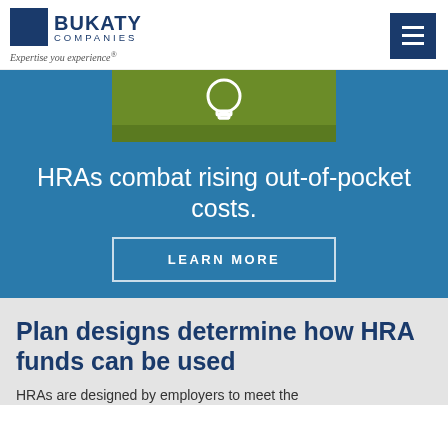[Figure (logo): Bukaty Companies logo with blue square and text, tagline 'Expertise you experience']
[Figure (illustration): Green banner with white lightbulb icon on blue background, partially visible at top]
HRAs combat rising out-of-pocket costs.
LEARN MORE
Plan designs determine how HRA funds can be used
HRAs are designed by employers to meet the